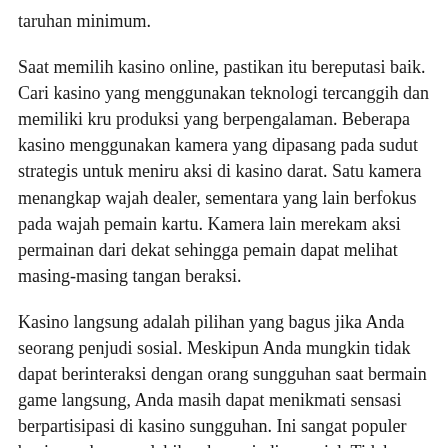taruhan minimum.
Saat memilih kasino online, pastikan itu bereputasi baik. Cari kasino yang menggunakan teknologi tercanggih dan memiliki kru produksi yang berpengalaman. Beberapa kasino menggunakan kamera yang dipasang pada sudut strategis untuk meniru aksi di kasino darat. Satu kamera menangkap wajah dealer, sementara yang lain berfokus pada wajah pemain kartu. Kamera lain merekam aksi permainan dari dekat sehingga pemain dapat melihat masing-masing tangan beraksi.
Kasino langsung adalah pilihan yang bagus jika Anda seorang penjudi sosial. Meskipun Anda mungkin tidak dapat berinteraksi dengan orang sungguhan saat bermain game langsung, Anda masih dapat menikmati sensasi berpartisipasi di kasino sungguhan. Ini sangat populer bagi mereka yang lebih suka perjudian sosial. Tidak seperti kasino online lainnya, permainan langsung juga menampilkan dealer kasino langsung. Permainan ini mirip dengan yang ditemukan di